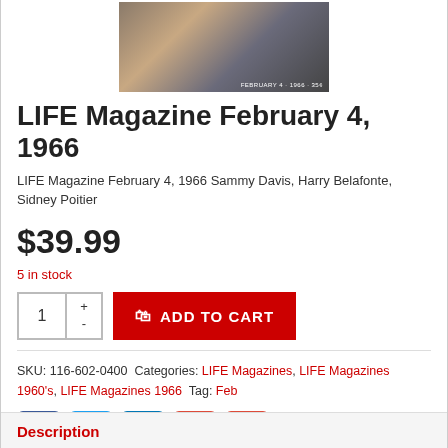[Figure (photo): Magazine cover photo showing Sammy Davis, Harry Belafonte, Sidney Poitier. Two men visible, text reads FEBRUARY 4, 1966 35¢]
LIFE Magazine February 4, 1966
LIFE Magazine February 4, 1966 Sammy Davis, Harry Belafonte, Sidney Poitier
$39.99
5 in stock
SKU: 116-602-0400 Categories: LIFE Magazines, LIFE Magazines 1960's, LIFE Magazines 1966 Tag: Feb
Description